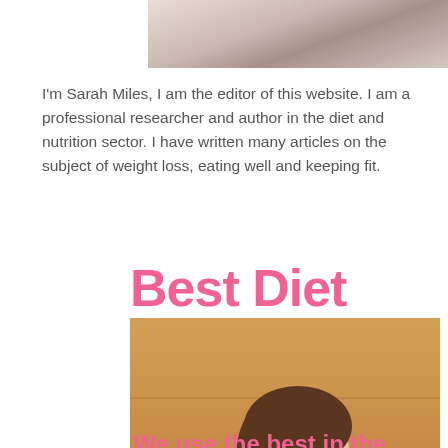[Figure (photo): Partial photo of a person (cropped, top portion visible) at the top of the page]
I'm Sarah Miles, I am the editor of this website. I am a professional researcher and author in the diet and nutrition sector. I have written many articles on the subject of weight loss, eating well and keeping fit.
Best Diet Pills
[Figure (photo): Overhead photo of a smiling young woman in a yellow top standing on a bathroom scale, arms spread wide, on a wooden floor background]
We use the best in the business